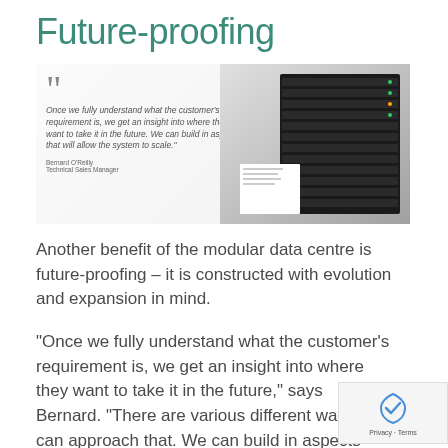Future-proofing
[Figure (photo): Photo of server/data centre hardware with a semi-transparent white overlay containing a pull quote from Bernard O'Reilly, Technical Sales Manager: 'Once we fully understand what the customer's requirement is, we get an insight into where they want to take it in the future. We can build in aspects that will allow the system to scale.']
Another benefit of the modular data centre is future-proofing – it is constructed with evolution and expansion in mind.
“Once we fully understand what the customer's requirement is, we get an insight into where they want to take it in the future,” says Bernard. “There are various different ways we can approach that. We can build in aspects that will allow the system to scale. We can